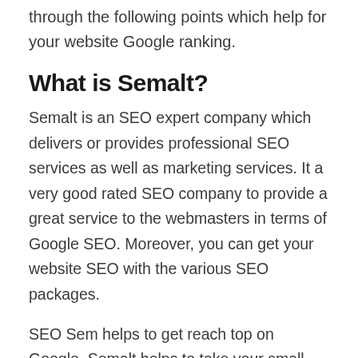through the following points which help for your website Google ranking.
What is Semalt?
Semalt is an SEO expert company which delivers or provides professional SEO services as well as marketing services. It a very good rated SEO company to provide a great service to the webmasters in terms of Google SEO. Moreover, you can get your website SEO with the various SEO packages.
SEO Sem helps to get reach top on Google. Semalt helps to take your small business SEO to next